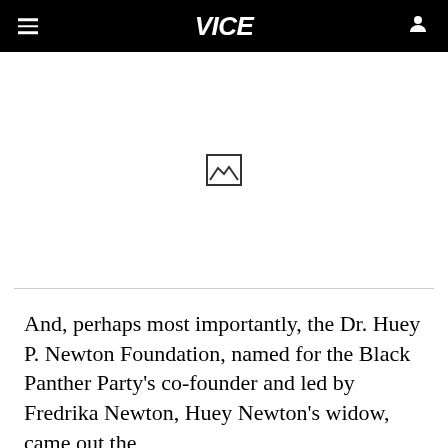VICE
[Figure (photo): Image placeholder area with broken image icon in the center, white background]
And, perhaps most importantly, the Dr. Huey P. Newton Foundation, named for the Black Panther Party's co-founder and led by Fredrika Newton, Huey Newton's widow, came out the